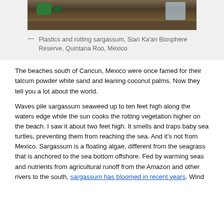[Figure (photo): Photo of plastics and rotting sargassum on a beach at Sian Ka'an Biosphere Reserve, Quintana Roo, Mexico]
— Plastics and rotting sargassum, Sian Ka'an Biosphere Reserve, Quintana Roo, Mexico
The beaches south of Cancun, Mexico were once famed for their talcum powder white sand and leaning coconut palms. Now they tell you a lot about the world.
Waves pile sargassum seaweed up to ten feet high along the waters edge while the sun cooks the rotting vegetation higher on the beach. I saw it about two feet high. It smells and traps baby sea turtles, preventing them from reaching the sea. And it's not from Mexico. Sargassum is a floating algae, different from the seagrass that is anchored to the sea bottom offshore. Fed by warming seas and nutrients from agricultural runoff from the Amazon and other rivers to the south, sargassum has bloomed in recent years. Wind